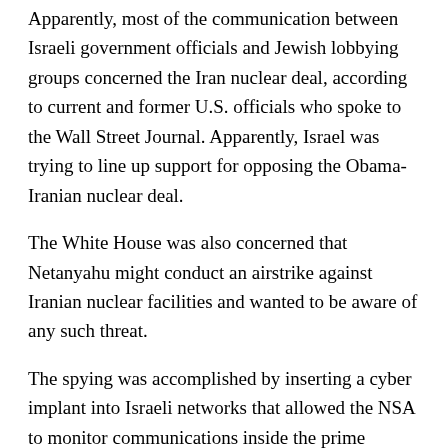Apparently, most of the communication between Israeli government officials and Jewish lobbying groups concerned the Iran nuclear deal, according to current and former U.S. officials who spoke to the Wall Street Journal. Apparently, Israel was trying to line up support for opposing the Obama-Iranian nuclear deal.
The White House was also concerned that Netanyahu might conduct an airstrike against Iranian nuclear facilities and wanted to be aware of any such threat.
The spying was accomplished by inserting a cyber implant into Israeli networks that allowed the NSA to monitor communications inside the prime minister's office. According to the article, Obama justified the spying on Netanyahu because it would serve a “compelling national security purpose.”
This has raised considerable controversy because it means that the U.S. continued to spy on select leaders of allied nations despite Obama’s pledge to curb such surveillance two years ago, and that it was a top